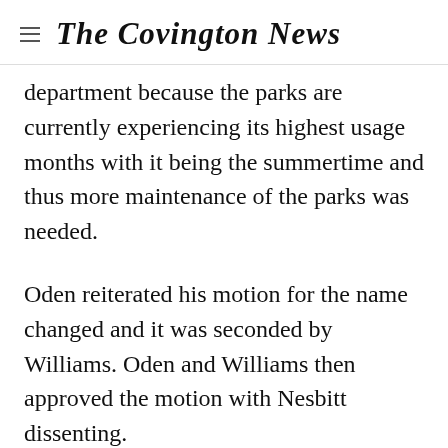The Covington News
department because the parks are currently experiencing its highest usage months with it being the summertime and thus more maintenance of the parks was needed.
Oden reiterated his motion for the name changed and it was seconded by Williams. Oden and Williams then approved the motion with Nesbitt dissenting.